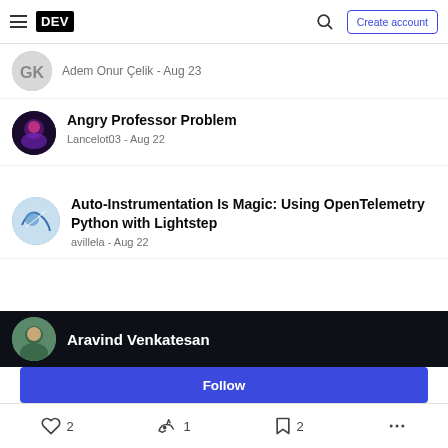DEV | Create account
Adem Onur Çelik - Aug 23
Angry Professor Problem
Lancelot03 - Aug 22
Auto-Instrumentation Is Magic: Using OpenTelemetry Python with Lightstep
avillela - Aug 22
Aravind Venkatesan
Follow
2  1  2  ...